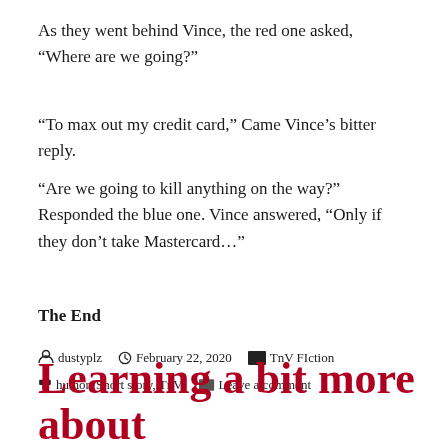As they went behind Vince, the red one asked, “Where are we going?”
“To max out my credit card,” Came Vince’s bitter reply.
“Are we going to kill anything on the way?” Responded the blue one. Vince answered, “Only if they don’t take Mastercard…”
The End
dustyplz   February 22, 2020   TnV FIction   humor, Short story, TnV   Leave a comment
Learning a bit more about